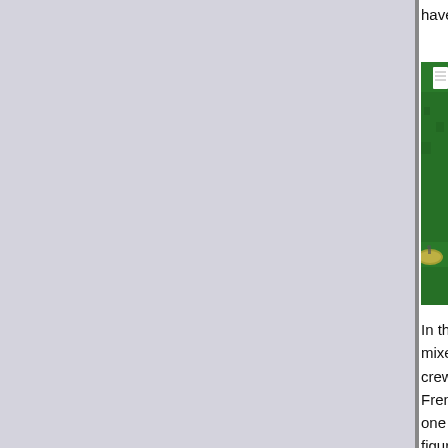have to
[Figure (photo): A miniature wargaming figure on an oval sandy/grassy base, placed on a bright green felt or grass mat surface. A small label or sign is visible in the background.]
In this p mixed G crew fig French one GH figure, a operato he is kn careful c he is alr